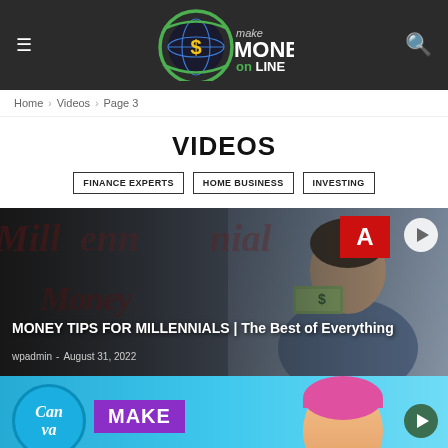make MONEY on LINE — website header with hamburger menu, logo, and search icon
Home › Videos › Page 3
VIDEOS
FINANCE EXPERTS
HOME BUSINESS
INVESTING
[Figure (screenshot): Video thumbnail for 'MONEY TIPS FOR MILLENNIALS | The Best of Everything' with a person holding dollar bills, a red badge with white text, and a play button. Author: wpadmin, Date: August 31, 2022]
[Figure (screenshot): Video thumbnail showing a Canva circle logo, a purple MAKE badge, and a person partially visible. Second video card partially visible at the bottom of the page.]